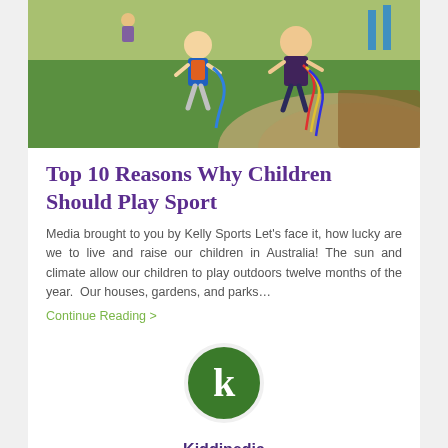[Figure (photo): Children running and playing outdoors on a green sports field, wearing colorful ribbons, with a playground path in the background.]
Top 10 Reasons Why Children Should Play Sport
Media brought to you by Kelly Sports Let's face it, how lucky are we to live and raise our children in Australia! The sun and climate allow our children to play outdoors twelve months of the year.  Our houses, gardens, and parks…
Continue Reading >
[Figure (logo): Kiddipedia logo: green circle with white letter k]
Kiddipedia